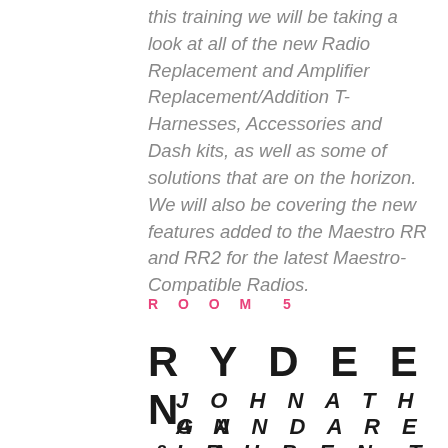this training we will be taking a look at all of the new Radio Replacement and Amplifier Replacement/Addition T-Harnesses, Accessories and Dash kits, as well as some of solutions that are on the horizon. We will also be covering the new features added to the Maestro RR and RR2 for the latest Maestro-Compatible Radios.
ROOM 5
RYDEEN
JOHNATHAN GANDARELA & RUBEN TORRES